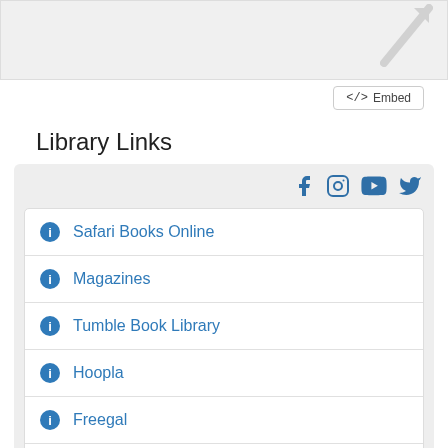[Figure (screenshot): Top portion of a webpage widget showing a gray image placeholder area with a diagonal slash/arrow graphic in the upper right corner]
</> Embed
Library Links
[Figure (screenshot): Library Links widget with social media icons (Facebook, Instagram, YouTube, Twitter) and a list of library resource links: Safari Books Online, Magazines, Tumble Book Library, Hoopla, Freegal, OverDrive. Each item has a blue info icon and blue link text.]
Safari Books Online
Magazines
Tumble Book Library
Hoopla
Freegal
OverDrive